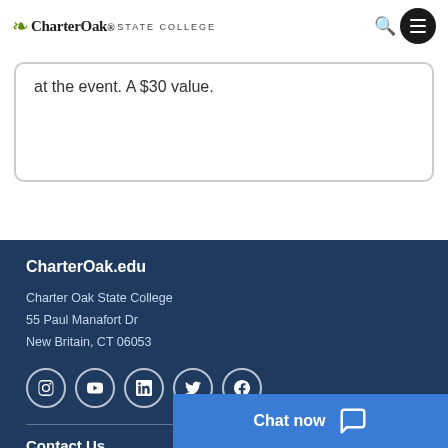CharterOak STATE COLLEGE
at the event. A $30 value.
CharterOak.edu
Charter Oak State College
55 Paul Manafort Dr
New Britain, CT 06053
[Figure (infographic): Social media icons: Instagram, YouTube, LinkedIn, Twitter, Facebook]
Contact Us
Chat now